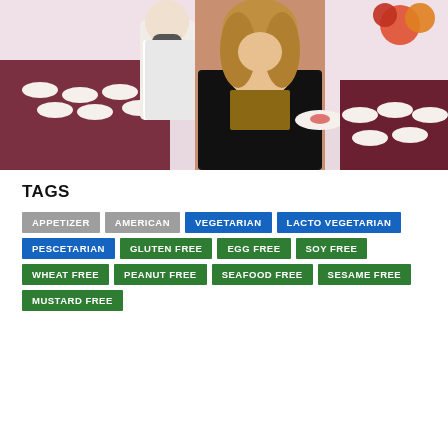[Figure (photo): A woman in a black blazer and leopard print top smiling at a catering or food event, holding a small plate with food. A masked server in white is visible behind her, and there are many small plates on a table in the background.]
TAGS
APPETIZER
AMERICAN
VEGETARIAN
LACTO VEGETARIAN
PESCETARIAN
GLUTEN FREE
EGG FREE
SOY FREE
WHEAT FREE
PEANUT FREE
SEAFOOD FREE
SESAME FREE
MUSTARD FREE